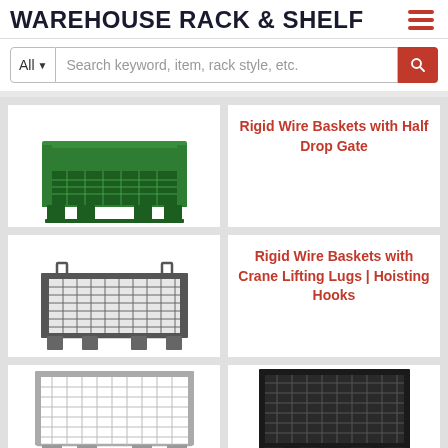WAREHOUSE RACK & SHELF
Search keyword, item, rack style, etc.
[Figure (photo): Green rigid wire basket with half drop gate]
Rigid Wire Baskets with Half Drop Gate
[Figure (photo): Gray/dark rigid wire basket with crane lifting lugs and hoisting hooks]
Rigid Wire Baskets with Crane Lifting Lugs | Hoisting Hooks
[Figure (photo): Silver/galvanized wire basket, partially visible at bottom]
[Figure (photo): Black wire basket, partially visible at bottom]